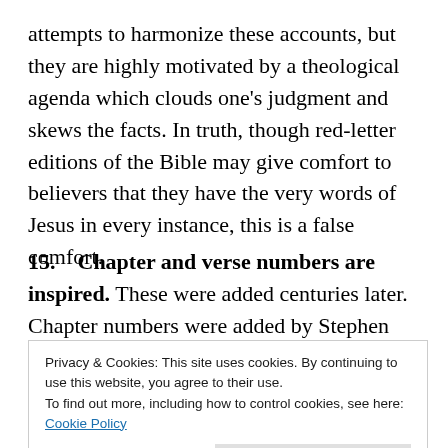attempts to harmonize these accounts, but they are highly motivated by a theological agenda which clouds one's judgment and skews the facts. In truth, though red-letter editions of the Bible may give comfort to believers that they have the very words of Jesus in every instance, this is a false comfort.
15.    Chapter and verse numbers are inspired. These were added centuries later. Chapter numbers were added by Stephen Langton, the Archbishop of Canterbury, in the early 13th century. Verse numbers
pocket-sized two-volume work (which can be viewed at